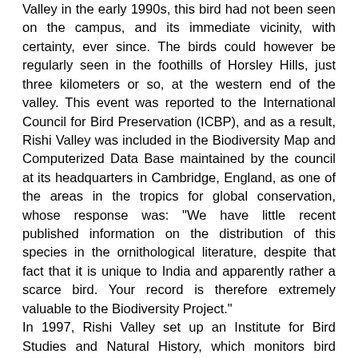Valley in the early 1990s, this bird had not been seen on the campus, and its immediate vicinity, with certainty, ever since. The birds could however be regularly seen in the foothills of Horsley Hills, just three kilometers or so, at the western end of the valley. This event was reported to the International Council for Bird Preservation (ICBP), and as a result, Rishi Valley was included in the Biodiversity Map and Computerized Data Base maintained by the council at its headquarters in Cambridge, England, as one of the areas in the tropics for global conservation, whose response was: "We have little recent published information on the distribution of this species in the ornithological literature, despite that fact that it is unique to India and apparently rather a scarce bird. Your record is therefore extremely valuable to the Biodiversity Project." In 1997, Rishi Valley set up an Institute for Bird Studies and Natural History, which monitors bird populations in the vicinity and currently runs a Home Studies Course in Ornithology
Educational Research [edit]
Rural Education Centre[20] innovated Multi grade